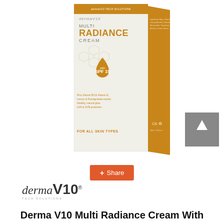[Figure (photo): Product photo of Derma V10 Multi Radiance Cream box with SPF 15 badge, shown at an angle with white front face and gold side panel. Front panel shows product name, hexagon molecular pattern, and golden drop badge with SPF 15. Key ingredients listed: Vitamin B3 & Vitamin E, Lemon & Pomegranate extract, Healthy natural glow, UVA & UVB protection. For All Skin Types text at bottom.]
Share
[Figure (logo): dermaV10 logo with italic 'derma' and bold 'V10' text, with 'TECH SOLUTIONS' tagline below]
Derma V10 Multi Radiance Cream With